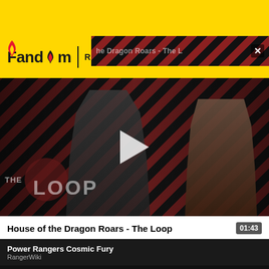[Figure (screenshot): Yellow top ad banner on Fandom website]
Fandom | RANGERWIKI
[Figure (screenshot): Overlaid advertisement strip showing 'he Dragon Roars - The L' with close button X, striped red/black diagonal pattern]
[Figure (screenshot): Video thumbnail for 'House of the Dragon Roars - The Loop' showing two characters with play button and THE LOOP branding, diagonal red and black striped background]
House of the Dragon Roars - The Loop
01:43
Power Rangers Cosmic Fury
RangerWiki